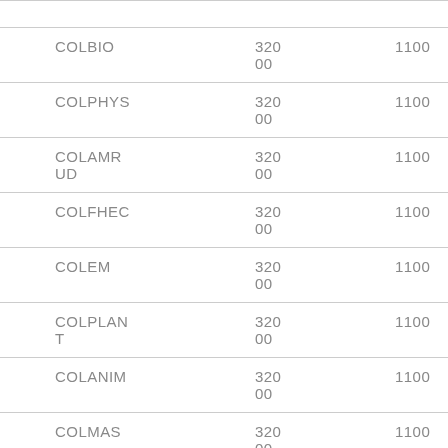|  |  |  |
| COLBIO | 320
00 | 1100 |
| COLPHYS | 320
00 | 1100 |
| COLAMRUD | 320
00 | 1100 |
| COLFHEC | 320
00 | 1100 |
| COLEM | 320
00 | 1100 |
| COLPLANT | 320
00 | 1100 |
| COLANIM | 320
00 | 1100 |
| COLMAS | 320
00 | 1100 |
| COLENG | 420
00 | 1350 |